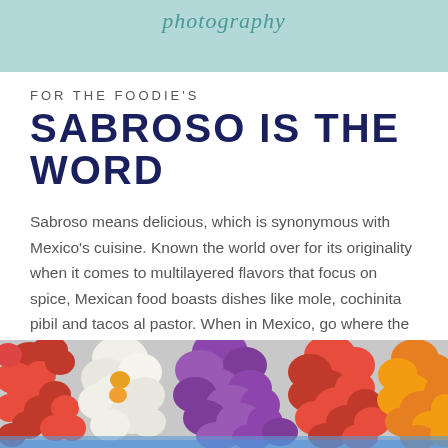photography
FOR THE FOODIE'S
SABROSO IS THE WORD
Sabroso means delicious, which is synonymous with Mexico's cuisine. Known the world over for its originality when it comes to multilayered flavors that focus on spice, Mexican food boasts dishes like mole, cochinita pibil and tacos al pastor. When in Mexico, go where the locals are eating and enjoy the salsas, the spices and the crunch.
[Figure (photo): Colorful flowers arranged together — red, white, purple, orange — forming a vibrant floral display, partially cropped at the bottom of the page.]